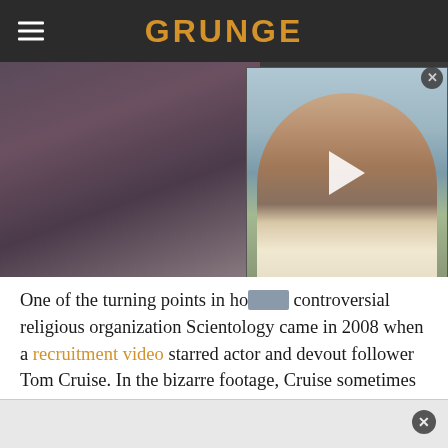GRUNGE
[Figure (photo): Two overlapping images: left shows partial view of a person in dark clothing, right shows a video thumbnail of an older man with long disheveled hair outdoors, with a play button overlay]
One of the turning points in how the controversial religious organization Scientology came in 2008 when a recruitment video starred actor and devout follower Tom Cruise. In the bizarre footage, Cruise sometimes whispers intensely and sometimes laughs maniacally while talking about a future where everyone on the planet is a Scientologist. He speaks in typical